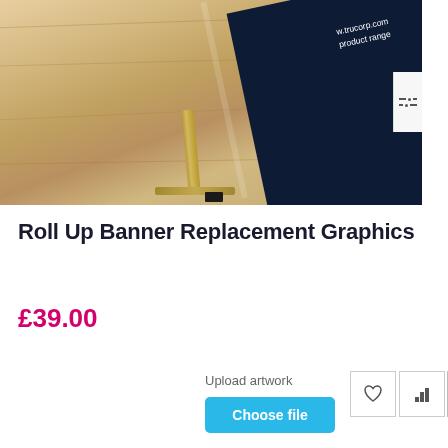[Figure (photo): A roll up banner display stand photographed on a wooden floor. The banner has a dark navy background with white text showing 'w.trucorp.com' and 'product range'. The stand has a silver/gold metallic base. A filter/sliders icon button is visible on the right edge.]
Roll Up Banner Replacement Graphics
£39.00
Upload artwork
Choose file